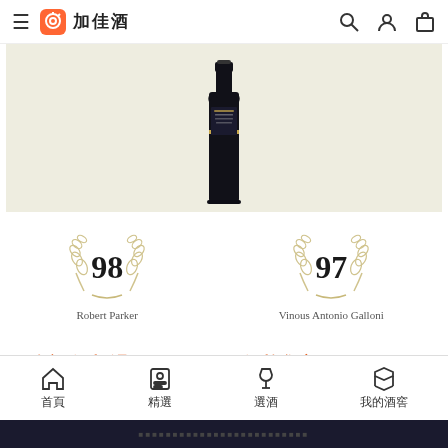加佳酒
[Figure (photo): Dark wine bottle (Cabernet Sauvignon) displayed against a beige/cream background]
[Figure (infographic): Two wine critic scores: Robert Parker 98 and Vinous Antonio Galloni 97, each displayed inside a laurel wreath badge]
國際評價超過 Opus One, 價格卻親民
首頁　精選　選酒　我的酒窖